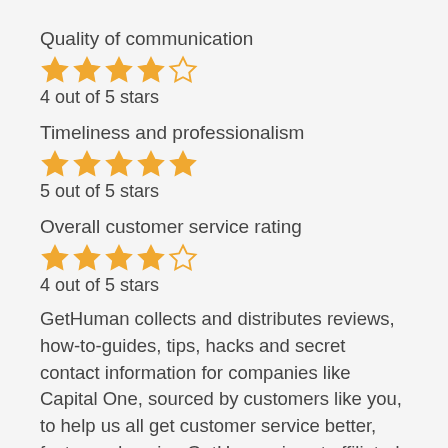Quality of communication
[Figure (other): 4 out of 5 stars rating widget with 4 filled golden stars and 1 empty star]
4 out of 5 stars
Timeliness and professionalism
[Figure (other): 5 out of 5 stars rating widget with 5 filled golden stars]
5 out of 5 stars
Overall customer service rating
[Figure (other): 4 out of 5 stars rating widget with 4 filled golden stars and 1 empty star]
4 out of 5 stars
GetHuman collects and distributes reviews, how-to-guides, tips, hacks and secret contact information for companies like Capital One, sourced by customers like you, to help us all get customer service better, faster and easier. GetHuman is not affiliated with Capital One in anyway.